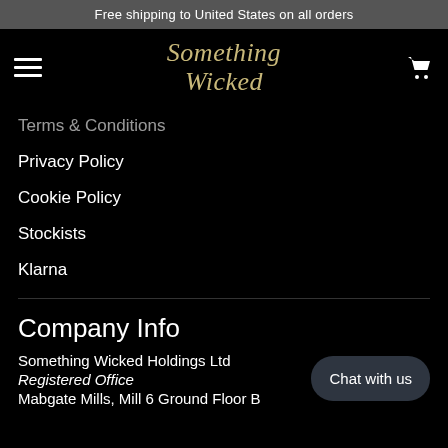Free shipping to United States on all orders
Something Wicked
Terms & Conditions
Privacy Policy
Cookie Policy
Stockists
Klarna
Company Info
Something Wicked Holdings Ltd
Registered Office
Mabgate Mills, Mill 6 Ground Floor B